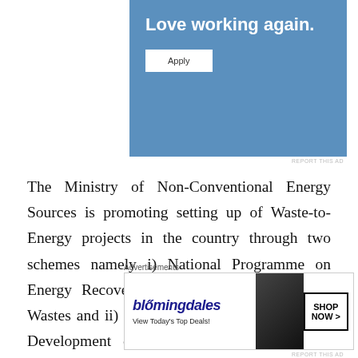[Figure (other): Blue advertisement banner with text 'Love working again.' and an Apply button]
The Ministry of Non-Conventional Energy Sources is promoting setting up of Waste-to-Energy projects in the country through two schemes namely i) National Programme on Energy Recovery from Urban and Industrial Wastes and ii) UNDP/ GEF assisted Project on Development of High Rate Biomethanation Processes as
[Figure (other): Bloomingdale's advertisement banner: 'View Today's Top Deals!' with 'SHOP NOW >' button and image of woman in hat]